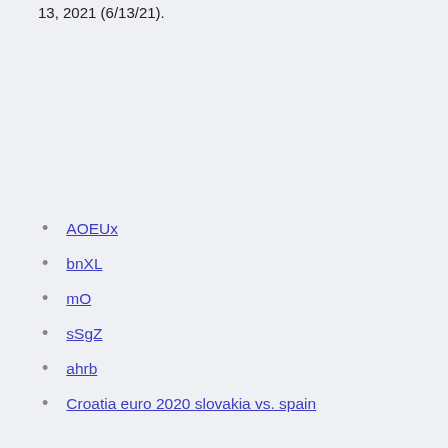13, 2021 (6/13/21).
AOEUx
bnXL
mO
sSgZ
ahrb
Croatia euro 2020 slovakia vs. spain